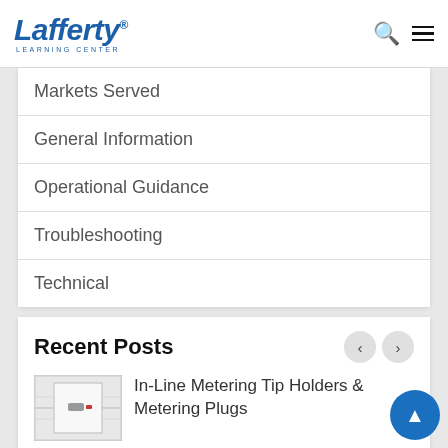Lafferty Learning Center
Markets Served
General Information
Operational Guidance
Troubleshooting
Technical
Recent Posts
[Figure (photo): Thumbnail image of In-Line Metering Tip Holders and Metering Plugs]
In-Line Metering Tip Holders & Metering Plugs